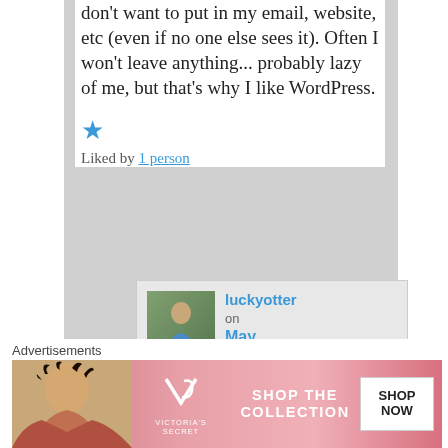don't want to put in my email, website, etc (even if no one else sees it). Often I won't leave anything... probably lazy of me, but that's why I like WordPress.
★ Liked by 1 person
luckyotter on May 25,
[Figure (screenshot): Advertisement banner for Victoria's Secret: 'SHOP THE COLLECTION' with a 'SHOP NOW' button, featuring model photo and VS logo]